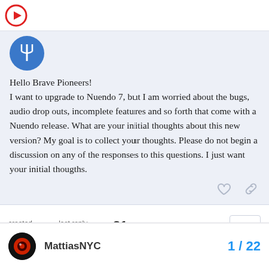[Figure (logo): Circular user avatar with a stylized pitchfork/trident icon on blue background]
Hello Brave Pioneers!
I want to upgrade to Nuendo 7, but I am worried about the bugs, audio drop outs, incomplete features and so forth that come with a Nuendo release. What are your initial thoughts about this new version? My goal is to collect your thoughts. Please do not begin a discussion on any of the responses to this questions. I just want your initial thougths.
created
Jul '15
last reply
Aug '15
21
replies
MattiasNYC
1 / 22